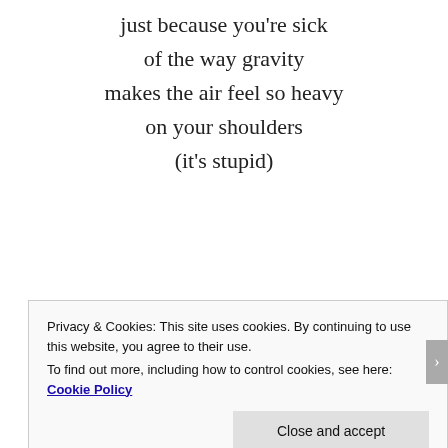just because you're sick
of the way gravity
makes the air feel so heavy
on your shoulders
(it's stupid)
[Figure (other): Longreads advertisement banner with red background and white logo/text]
and even though
alcohol makes you
feel like you can fly
Privacy & Cookies: This site uses cookies. By continuing to use this website, you agree to their use.
To find out more, including how to control cookies, see here: Cookie Policy
Close and accept